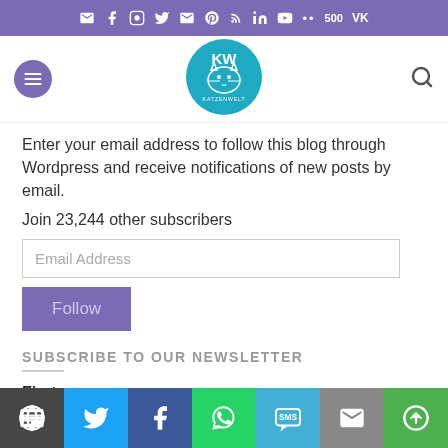Social media icons bar (email, facebook, instagram, twitter, email, pinterest, rss, linkedin, youtube, 500px, vk)
[Figure (logo): Circular logo with cat illustration and text KW KATZENWELT]
Enter your email address to follow this blog through Wordpress and receive notifications of new posts by email.
Join 23,244 other subscribers
Email Address
Follow
SUBSCRIBE TO OUR NEWSLETTER
First name
[Figure (infographic): Bottom share bar with icons: WordPress (dark grey), Twitter (blue), Facebook (navy), WhatsApp (green), SMS (teal), Mail (grey), Other (green)]